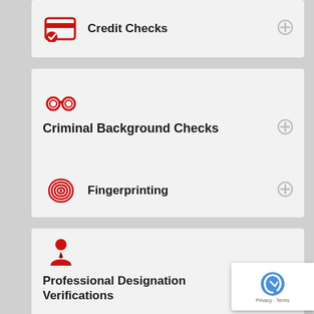Credit Checks
Criminal Background Checks
Fingerprinting
Professional Designation Verifications
Education Verifications